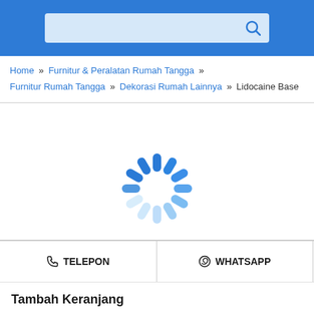Search bar with search icon
Home » Furnitur & Peralatan Rumah Tangga » Furnitur Rumah Tangga » Dekorasi Rumah Lainnya » Lidocaine Base
[Figure (illustration): Loading spinner animation — circular arrangement of blue pill-shaped bars fading from dark blue to light blue]
TELEPON
WHATSAPP
Tambah Keranjang